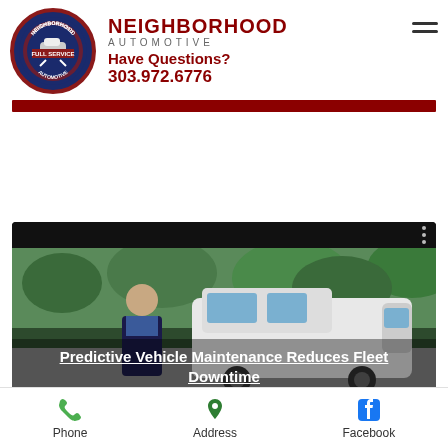[Figure (logo): Neighborhood Automotive circular logo with blue background, red border, car and wrench icons, text NEIGHBORHOOD, FULL SERVICE, AUTOMOTIVE]
NEIGHBORHOOD AUTOMOTIVE
Have Questions? 303.972.6776
[Figure (screenshot): Video thumbnail showing a man standing in front of a white van with trees in background, with title overlay 'Predictive Vehicle Maintenance Reduces Fleet Downtime']
Predictive Vehicle Maintenance Reduces Fleet Downtime
Phone | Address | Facebook